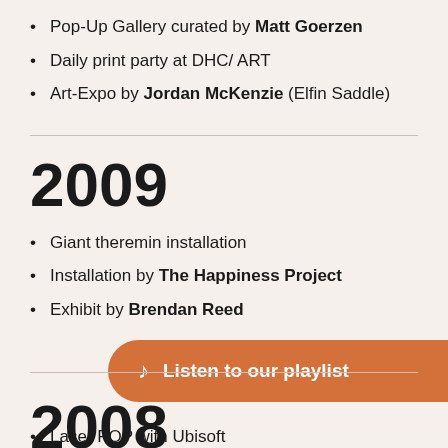Pop-Up Gallery curated by Matt Goerzen
Daily print party at DHC/ ART
Art-Expo by Jordan McKenzie (Elfin Saddle)
2009
Giant theremin installation
Installation by The Happiness Project
Exhibit by Brendan Reed
[Figure (other): Orange pill-shaped button with music note icon and text 'Listen to our playlist']
2008
Laser POP with Ubisoft